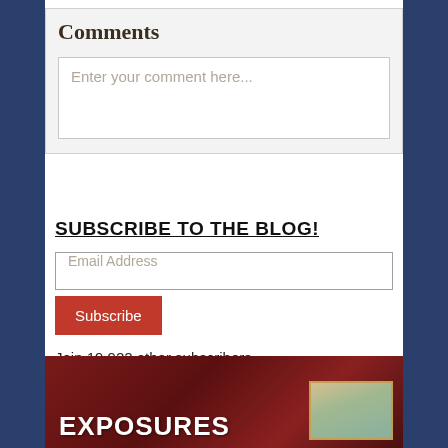Comments
Enter your comment here...
SUBSCRIBE TO THE BLOG!
Email Address
Subscribe
Join 19,922 other subscribers
[Figure (photo): Dark red/maroon background image with bold white text reading EXPOSURES and a small landscape photo thumbnail on the right]